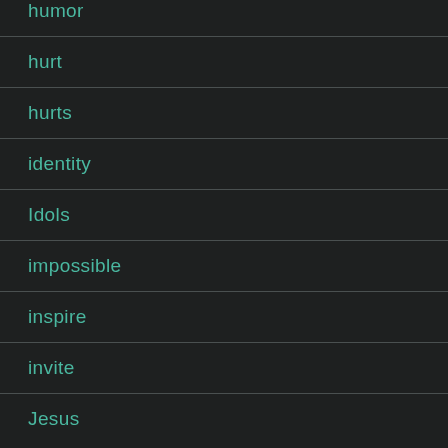humor
hurt
hurts
identity
Idols
impossible
inspire
invite
Jesus